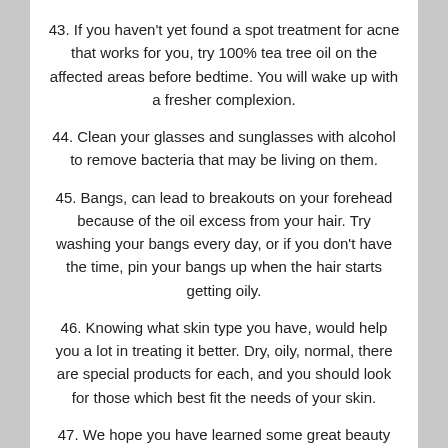43. If you haven't yet found a spot treatment for acne that works for you, try 100% tea tree oil on the affected areas before bedtime. You will wake up with a fresher complexion.
44. Clean your glasses and sunglasses with alcohol to remove bacteria that may be living on them.
45. Bangs, can lead to breakouts on your forehead because of the oil excess from your hair. Try washing your bangs every day, or if you don't have the time, pin your bangs up when the hair starts getting oily.
46. Knowing what skin type you have, would help you a lot in treating it better. Dry, oily, normal, there are special products for each, and you should look for those which best fit the needs of your skin.
47. ...